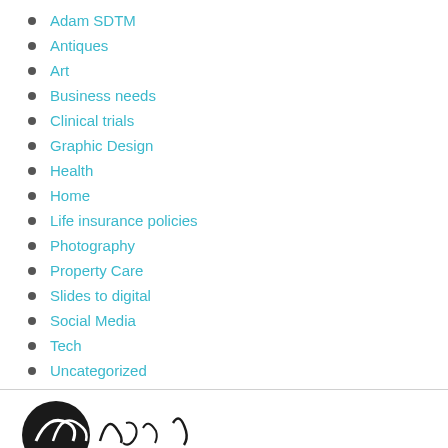Adam SDTM
Antiques
Art
Business needs
Clinical trials
Graphic Design
Health
Home
Life insurance policies
Photography
Property Care
Slides to digital
Social Media
Tech
Uncategorized
[Figure (logo): Partial logo visible at bottom of page — dark circular emblem with script text]